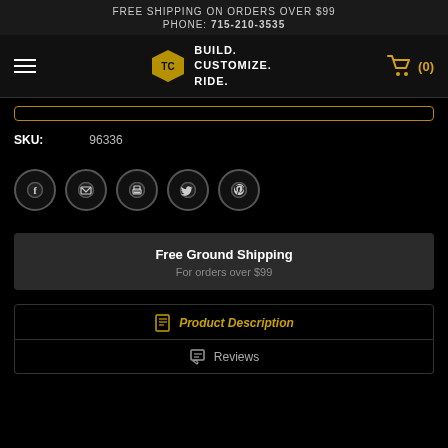FREE SHIPPING ON ORDERS OVER $99
PHONE: 715-210-3535
[Figure (logo): Throttle Chick logo with text BUILD. CUSTOMIZE. RIDE.]
SKU: 96336
[Figure (infographic): Social sharing icons: Facebook, Email, Print, Twitter, Pinterest]
Free Ground Shipping
For orders over $99
Product Description
Reviews